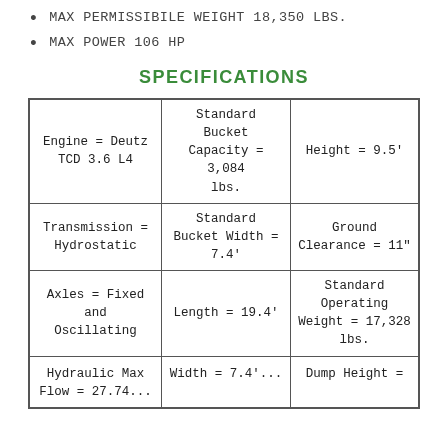MAX PERMISSIBILE WEIGHT 18,350 LBS.
MAX POWER 106 HP
SPECIFICATIONS
| Col1 | Col2 | Col3 |
| --- | --- | --- |
| Engine = Deutz TCD 3.6 L4 | Standard Bucket Capacity = 3,084 lbs. | Height = 9.5' |
| Transmission = Hydrostatic | Standard Bucket Width = 7.4' | Ground Clearance = 11" |
| Axles = Fixed and Oscillating | Length = 19.4' | Standard Operating Weight = 17,328 lbs. |
| Hydraulic Max Flow = 27.74... | Width = 7.4'... | Dump Height = ... |